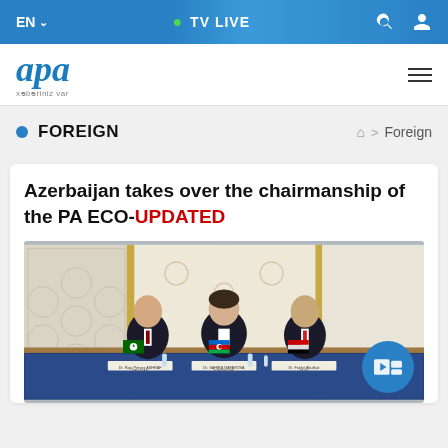EN  ▾   (•) TV LIVE   🔍  👤
[Figure (logo): APA news agency logo with italic blue text and tagline 'xəbəriniz var']
FOREIGN
🏠 > Foreign
Azerbaijan takes over the chairmanship of the PA ECO-UPDATED
[Figure (photo): Three officials seated at a conference table with national flags (Pakistan and Azerbaijan) in a formal ornate hall. Name placards visible on the table.]